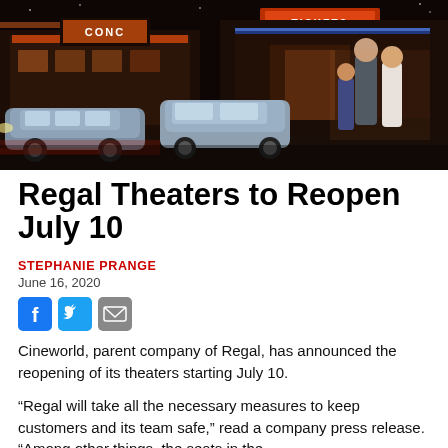[Figure (photo): Nighttime exterior photo of a Regal movie theater showing the illuminated marquee and ticket booth, with cars and a family in the parking lot]
Regal Theaters to Reopen July 10
STEPHANIE PRANGE
June 16, 2020
[Figure (other): Social sharing icons: Facebook, Twitter, Email]
Cineworld, parent company of Regal, has announced the reopening of its theaters starting July 10.
“Regal will take all the necessary measures to keep customers and its team safe,” read a company press release. “Among other things, the seats in the